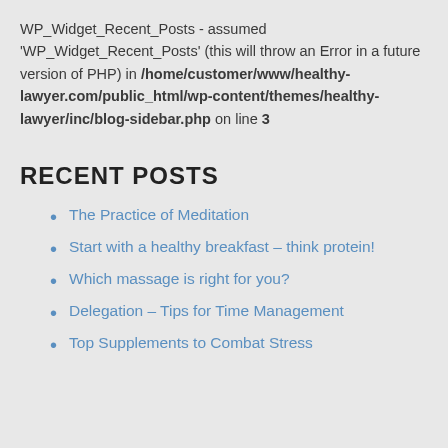WP_Widget_Recent_Posts - assumed 'WP_Widget_Recent_Posts' (this will throw an Error in a future version of PHP) in /home/customer/www/healthy-lawyer.com/public_html/wp-content/themes/healthy-lawyer/inc/blog-sidebar.php on line 3
RECENT POSTS
The Practice of Meditation
Start with a healthy breakfast – think protein!
Which massage is right for you?
Delegation – Tips for Time Management
Top Supplements to Combat Stress